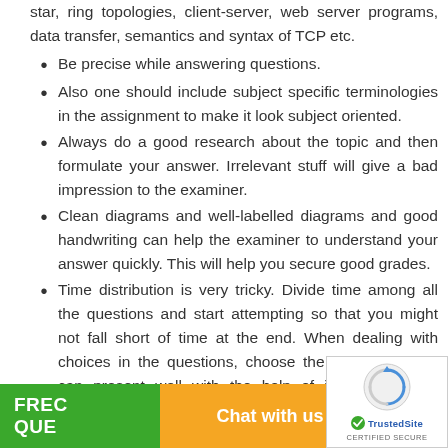star, ring topologies, client-server, web server programs, data transfer, semantics and syntax of TCP etc.
Be precise while answering questions.
Also one should include subject specific terminologies in the assignment to make it look subject oriented.
Always do a good research about the topic and then formulate your answer. Irrelevant stuff will give a bad impression to the examiner.
Clean diagrams and well-labelled diagrams and good handwriting can help the examiner to understand your answer quickly. This will help you secure good grades.
Time distribution is very tricky. Divide time among all the questions and start attempting so that you might not fall short of time at the end. When dealing with choices in the questions, choose the one which you can present well with the help of illustrations and diagrams.
[Figure (screenshot): Bottom UI bar with green background showing FREE QUESTION text, orange Chat with us button, and TrustedSite CERTIFIED SECURE badge on the right side]